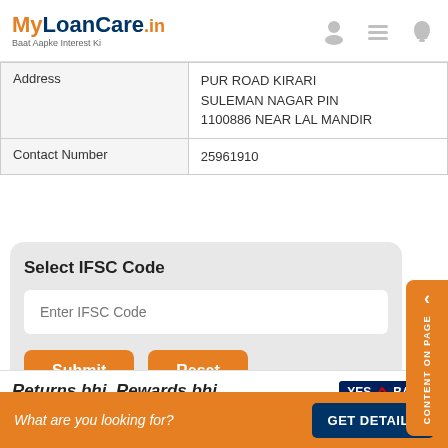MyLoanCare.in — Baat Aapke Interest Ki
| Field | Value |
| --- | --- |
| Address | PUR ROAD KIRARI SULEMAN NAGAR PIN 1100886 NEAR LAL MANDIR |
| Contact Number | 25961910 |
Select IFSC Code
Enter IFSC Code (input field)
Submit | Reset
Returns bhi, Rewards bhi
5.5%* interest p.a + up to 1500** YES Rewardz Points on account opening
Earn up to 50k** YES ... Exclusive offers on Demat
What are you looking for?
GET DETAILS